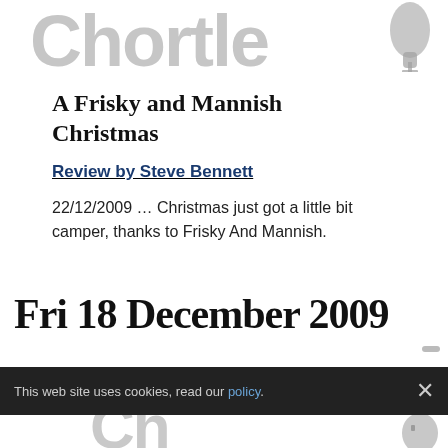Chortle
A Frisky and Mannish Christmas
Review by Steve Bennett
22/12/2009 … Christmas just got a little bit camper, thanks to Frisky And Mannish.
Fri 18 December 2009
This web site uses cookies, read our policy.